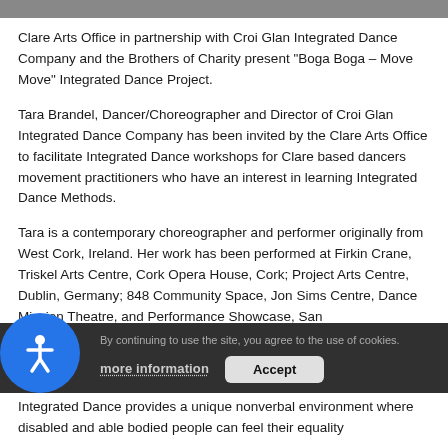[Figure (photo): Top image strip showing partial photo/screenshot at the top of the page]
Clare Arts Office in partnership with Croi Glan Integrated Dance Company and the Brothers of Charity present "Boga Boga – Move Move" Integrated Dance Project.
Tara Brandel, Dancer/Choreographer and Director of Croi Glan Integrated Dance Company has been invited by the Clare Arts Office to facilitate Integrated Dance workshops for Clare based dancers movement practitioners who have an interest in learning Integrated Dance Methods.
Tara is a contemporary choreographer and performer originally from West Cork, Ireland. Her work has been performed at Firkin Crane, Triskel Arts Centre, Cork Opera House, Cork; Project Arts Centre, Dublin, Germany; 848 Community Space, Jon Sims Centre, Dance Mission Theatre, and Performance Showcase, San
Integrated Dance provides a unique nonverbal environment where disabled and able bodied people can feel their equality